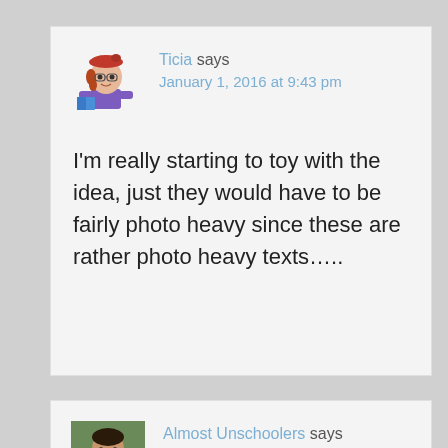Ticia says
January 1, 2016 at 9:43 pm
I'm really starting to toy with the idea, just they would have to be fairly photo heavy since these are rather photo heavy texts…..
Almost Unschoolers says
January 1, 2016 at 8:57 am